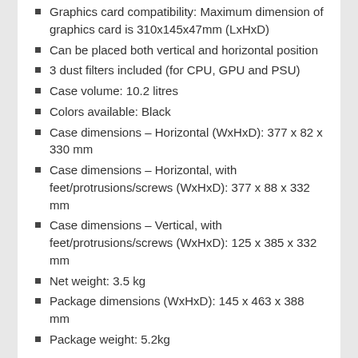Graphics card compatibility: Maximum dimension of graphics card is 310x145x47mm (LxHxD)
Can be placed both vertical and horizontal position
3 dust filters included (for CPU, GPU and PSU)
Case volume: 10.2 litres
Colors available: Black
Case dimensions – Horizontal (WxHxD): 377 x 82 x 330 mm
Case dimensions – Horizontal, with feet/protrusions/screws (WxHxD): 377 x 88 x 332 mm
Case dimensions – Vertical, with feet/protrusions/screws (WxHxD): 125 x 385 x 332 mm
Net weight: 3.5 kg
Package dimensions (WxHxD): 145 x 463 x 388 mm
Package weight: 5.2kg
To make the build even easier, the model we have today comes with that rather fantastic Integra SFX 450W 80 Plus Gold power supply pre-installed, meaning that you can get your custom up and running a lot quicker, and that